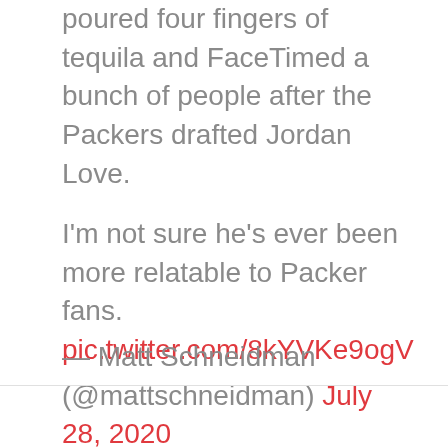poured four fingers of tequila and FaceTimed a bunch of people after the Packers drafted Jordan Love.

I'm not sure he's ever been more relatable to Packer fans. pic.twitter.com/8kYVKe9ogV
— Matt Schneidman (@mattschneidman) July 28, 2020